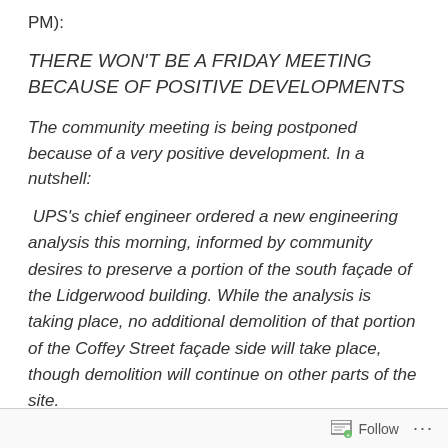PM):
THERE WON'T BE A FRIDAY MEETING BECAUSE OF POSITIVE DEVELOPMENTS
The community meeting is being postponed because of a very positive development. In a nutshell:
UPS's chief engineer ordered a new engineering analysis this morning, informed by community desires to preserve a portion of the south façade of the Lidgerwood building. While the analysis is taking place, no additional demolition of that portion of the Coffey Street façade side will take place, though demolition will continue on other parts of the site.
Follow ...